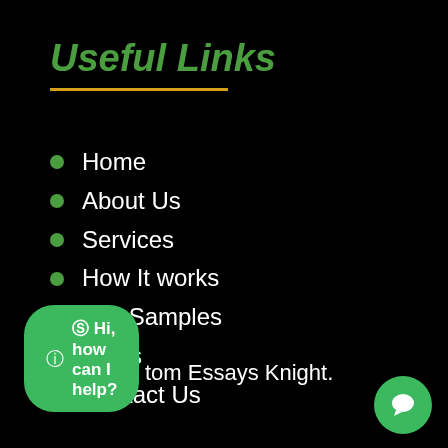Useful Links
Home
About Us
Services
How It works
Our Samples
FAQs
Contact Us
tom Essays Knight.
Hi, how can I help?